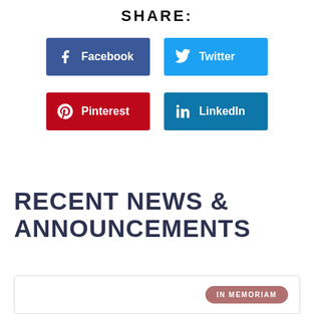SHARE:
[Figure (infographic): Four social share buttons: Facebook (dark blue), Twitter (light blue), Pinterest (red), LinkedIn (medium blue), each with icon and label text.]
RECENT NEWS & ANNOUNCEMENTS
IN MEMORIAM